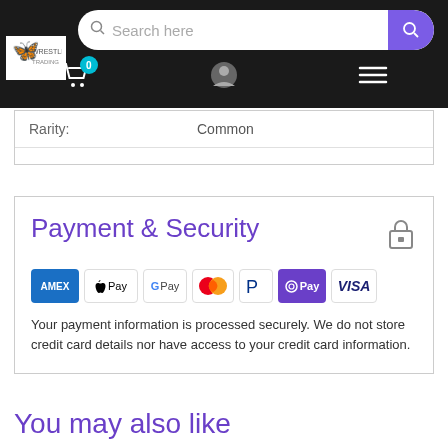Search here [search bar with cart, user, menu icons]
| Rarity: | Common |
| --- | --- |
Payment & Security
[Figure (infographic): Payment method logos: AMEX, Apple Pay, Google Pay, Mastercard, PayPal, OPay, VISA]
Your payment information is processed securely. We do not store credit card details nor have access to your credit card information.
You may also like